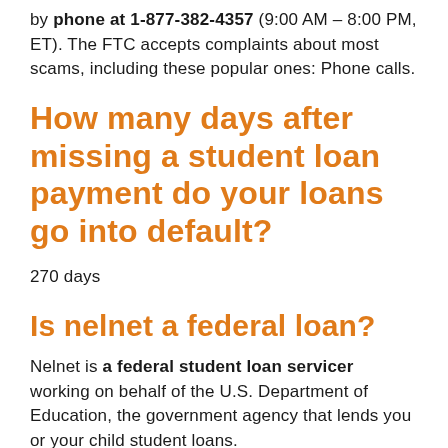by phone at 1-877-382-4357 (9:00 AM – 8:00 PM, ET). The FTC accepts complaints about most scams, including these popular ones: Phone calls.
How many days after missing a student loan payment do your loans go into default?
270 days
Is nelnet a federal loan?
Nelnet is a federal student loan servicer working on behalf of the U.S. Department of Education, the government agency that lends you or your child student loans.